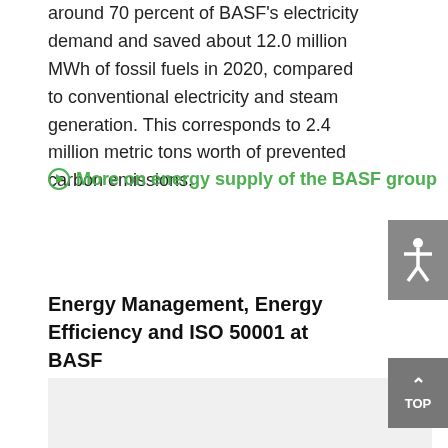around 70 percent of BASF's electricity demand and saved about 12.0 million MWh of fossil fuels in 2020, compared to conventional electricity and steam generation. This corresponds to 2.4 million metric tons worth of prevented carbon emissions.
More on energy supply of the BASF group
Energy Management, Energy Efficiency and ISO 50001 at BASF
[Figure (other): Gray background image/content area partially visible at bottom of page]